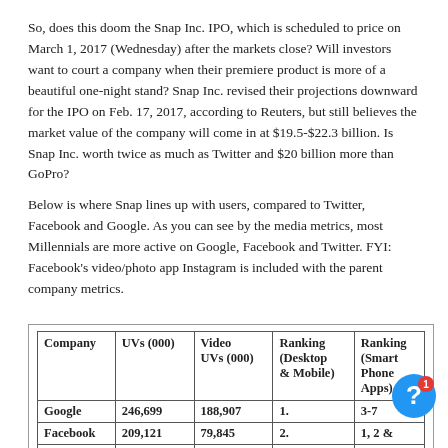So, does this doom the Snap Inc. IPO, which is scheduled to price on March 1, 2017 (Wednesday) after the markets close? Will investors want to court a company when their premiere product is more of a beautiful one-night stand? Snap Inc. revised their projections downward for the IPO on Feb. 17, 2017, according to Reuters, but still believes the market value of the company will come in at $19.5-$22.3 billion. Is Snap Inc. worth twice as much as Twitter and $20 billion more than GoPro?
Below is where Snap lines up with users, compared to Twitter, Facebook and Google. As you can see by the media metrics, most Millennials are more active on Google, Facebook and Twitter. FYI: Facebook's video/photo app Instagram is included with the parent company metrics.
| Company | UVs (000) | Video UVs (000) | Ranking (Desktop & Mobile) | Ranking (Smart Phone Apps) |
| --- | --- | --- | --- | --- |
| Google | 246,699 | 188,907 | 1. | 3-7 |
| Facebook | 209,121 | 79,845 | 2. | 1, 2 & |
| Twitter | 104,953 | NA | 18. | NA |
| Snap | 83,674 | NA | 28. | 9 |